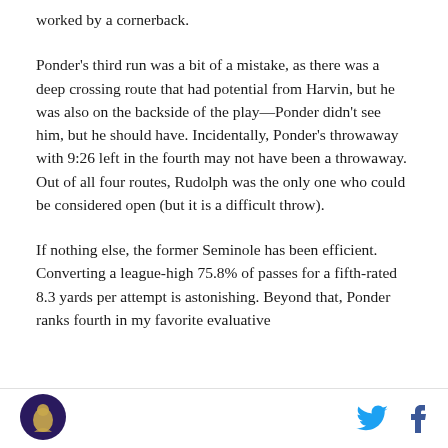worked by a cornerback.
Ponder's third run was a bit of a mistake, as there was a deep crossing route that had potential from Harvin, but he was also on the backside of the play—Ponder didn't see him, but he should have. Incidentally, Ponder's throwaway with 9:26 left in the fourth may not have been a throwaway. Out of all four routes, Rudolph was the only one who could be considered open (but it is a difficult throw).
If nothing else, the former Seminole has been efficient. Converting a league-high 75.8% of passes for a fifth-rated 8.3 yards per attempt is astonishing. Beyond that, Ponder ranks fourth in my favorite evaluative
[Figure (logo): Circular logo with dark purple background and a stylized figure in gold/yellow]
[Figure (illustration): Twitter bird icon in blue and Facebook 'f' icon in dark blue]